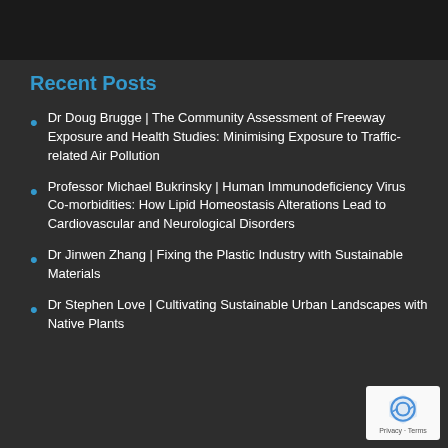Recent Posts
Dr Doug Brugge | The Community Assessment of Freeway Exposure and Health Studies: Minimising Exposure to Traffic-related Air Pollution
Professor Michael Bukrinsky | Human Immunodeficiency Virus Co-morbidities: How Lipid Homeostasis Alterations Lead to Cardiovascular and Neurological Disorders
Dr Jinwen Zhang | Fixing the Plastic Industry with Sustainable Materials
Dr Stephen Love | Cultivating Sustainable Urban Landscapes with Native Plants